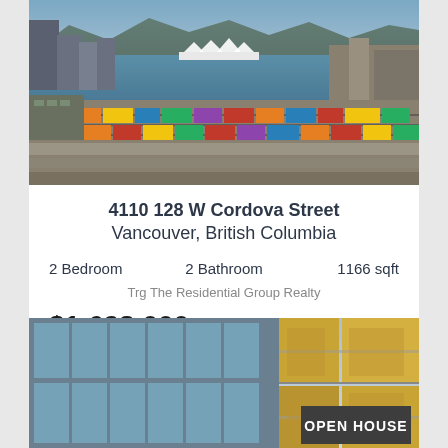[Figure (photo): Aerial view of Vancouver waterfront showing port, railway yards, harbor with white tent-like structures, mountains in background]
4110 128 W Cordova Street
Vancouver, British Columbia
2 Bedroom    2 Bathroom    1166 sqft
Trg The Residential Group Realty
$1,628,000
[Figure (photo): Modern multi-story residential building with glass windows and yellow/orange accent panels, partly visible with OPEN HOUSE badge]
OPEN HOUSE